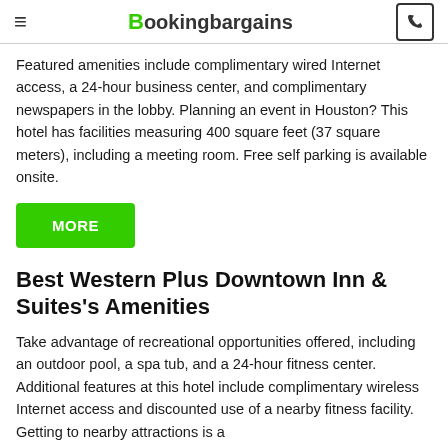≡ Bookingbargains ☎
Featured amenities include complimentary wired Internet access, a 24-hour business center, and complimentary newspapers in the lobby. Planning an event in Houston? This hotel has facilities measuring 400 square feet (37 square meters), including a meeting room. Free self parking is available onsite.
MORE
Best Western Plus Downtown Inn & Suites's Amenities
Take advantage of recreational opportunities offered, including an outdoor pool, a spa tub, and a 24-hour fitness center. Additional features at this hotel include complimentary wireless Internet access and discounted use of a nearby fitness facility. Getting to nearby attractions is a